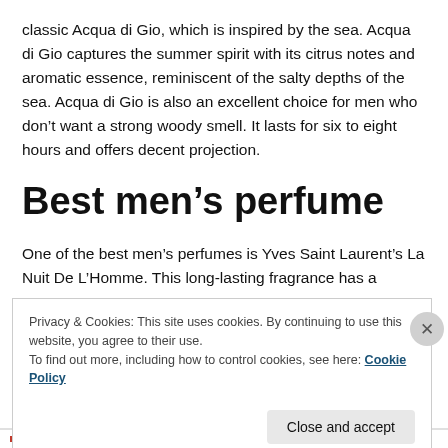classic Acqua di Gio, which is inspired by the sea. Acqua di Gio captures the summer spirit with its citrus notes and aromatic essence, reminiscent of the salty depths of the sea. Acqua di Gio is also an excellent choice for men who don't want a strong woody smell. It lasts for six to eight hours and offers decent projection.
Best men’s perfume
One of the best men's perfumes is Yves Saint Laurent’s La Nuit De L’Homme. This long-lasting fragrance has a
Privacy & Cookies: This site uses cookies. By continuing to use this website, you agree to their use.
To find out more, including how to control cookies, see here: Cookie Policy
Close and accept